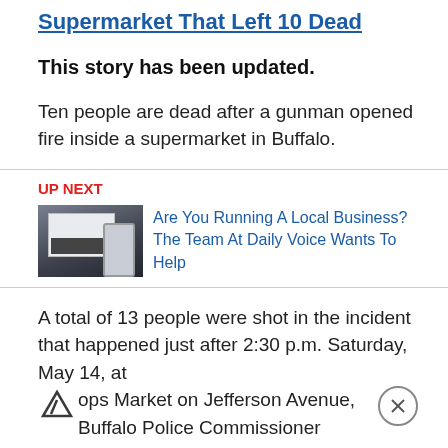Supermarket That Left 10 Dead
This story has been updated.
Ten people are dead after a gunman opened fire inside a supermarket in Buffalo.
[Figure (other): Thumbnail image showing a laptop and phone for Daily Voice ad]
Are You Running A Local Business? The Team At Daily Voice Wants To Help
A total of 13 people were shot in the incident that happened just after 2:30 p.m. Saturday, May 14, at Tops Market on Jefferson Avenue, Buffalo Police Commissioner Joseph Gramaglia said. The three others shot have non life-threatening injuries.